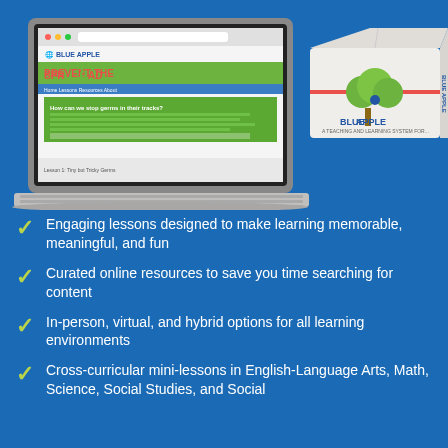[Figure (illustration): A laptop computer showing the Blue Apple educational website with 'Prevent the Spread' lesson, alongside a Blue Apple branded product box with a tree logo.]
Engaging lessons designed to make learning memorable, meaningful, and fun
Curated online resources to save you time searching for content
In-person, virtual, and hybrid options for all learning environments
Cross-curricular mini-lessons in English-Language Arts, Math, Science, Social Studies, and Social